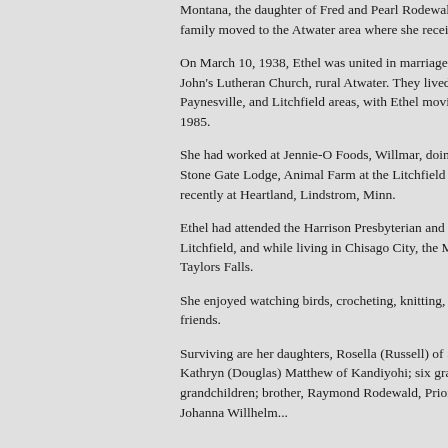Montana, the daughter of Fred and Pearl Rod... young girl her family moved to the Atwater a... received her schooling.
On March 10, 1938, Ethel was united in mar... Remmel at St. John's Lutheran Church, rural ... lived in the Atwater, Paynesville, and Litchfie... Ethel moving to Chisago City in 1985.
She had worked at Jennie-O Foods, Willmar,... housekeeping at Stone Gate Lodge, Animal F... the Litchfield hospital, and most recently at H... Lindstrom, Minn.
Ethel had attended the Harrison Presbyterian... Presbyterian church in Litchfield, and while l... City, the Methodist church in Taylors Falls.
She enjoyed watching birds, crocheting, knitt... traveling with friends.
Surviving are her daughters, Rosella (Russell... Sandstone, Minn., and Kathryn (Douglas) Ma... Kandiyohi; six grandchildren; two great-gran... brother, Raymond Rodewald, Prior Lake; ano... Johanna Willh...